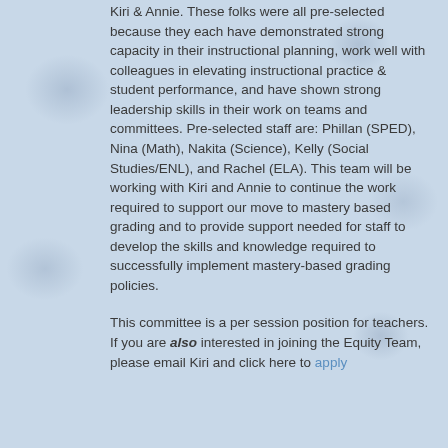Kiri & Annie.  These folks were all pre-selected because they each have demonstrated strong capacity in their instructional planning, work well with colleagues in elevating instructional practice & student performance, and have shown strong leadership skills in their work on teams and committees. Pre-selected staff are:  Phillan (SPED), Nina (Math), Nakita (Science), Kelly (Social Studies/ENL), and Rachel (ELA).  This team will be working with Kiri and Annie to continue the work required to support our move to mastery based grading and to provide support needed for staff to develop the skills and knowledge required to successfully implement mastery-based grading policies.
This committee is a per session position for teachers.
If you are also interested in joining the Equity Team, please email Kiri and click here to apply